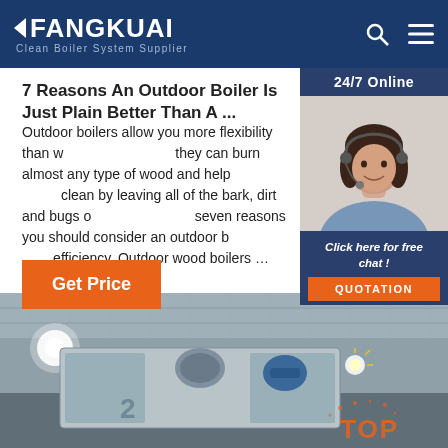FANGKUAI Clean Boiler System Supplier
7 Reasons An Outdoor Boiler Is Just Plain Better Than A ...
Outdoor boilers allow you more flexibility than wood stoves, since they can burn almost any type of wood and help keep your home clean by leaving all of the bark, dirt and bugs outside. Here are seven reasons you should consider an outdoor boiler for your efficiency. Outdoor wood boilers ...
Get Price
[Figure (photo): Customer service representative woman with headset, 24/7 Online chat widget with 'Click here for free chat!' text and QUOTATION button]
[Figure (photo): Industrial boiler equipment in a facility, with bright lights and machinery visible]